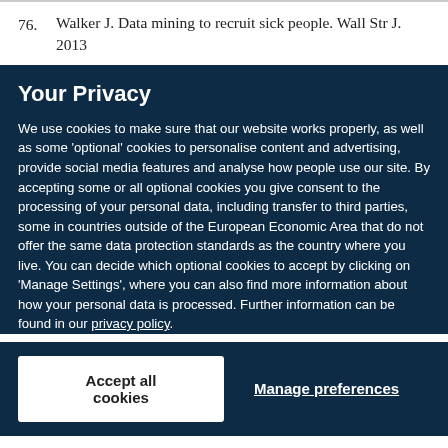76. Walker J. Data mining to recruit sick people. Wall Str J. 2013
Your Privacy
We use cookies to make sure that our website works properly, as well as some 'optional' cookies to personalise content and advertising, provide social media features and analyse how people use our site. By accepting some or all optional cookies you give consent to the processing of your personal data, including transfer to third parties, some in countries outside of the European Economic Area that do not offer the same data protection standards as the country where you live. You can decide which optional cookies to accept by clicking on 'Manage Settings', where you can also find more information about how your personal data is processed. Further information can be found in our privacy policy.
Accept all cookies
Manage preferences